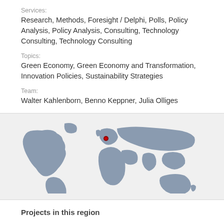Services:
Research, Methods, Foresight / Delphi, Polls, Policy Analysis, Policy Analysis, Consulting, Technology Consulting, Technology Consulting
Topics:
Green Economy, Green Economy and Transformation, Innovation Policies, Sustainability Strategies
Team:
Walter Kahlenborn, Benno Keppner, Julia Olliges
[Figure (map): World map in grey showing continents with a red dot marker positioned over Central Europe (Germany region).]
Projects in this region
Transition to EMAS